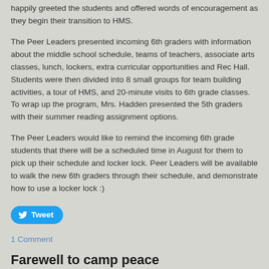happily greeted the students and offered words of encouragement as they begin their transition to HMS.
The Peer Leaders presented incoming 6th graders with information about the middle school schedule, teams of teachers, associate arts classes, lunch, lockers, extra curricular opportunities and Rec Hall. Students were then divided into 8 small groups for team building activities, a tour of HMS, and 20-minute visits to 6th grade classes. To wrap up the program, Mrs. Hadden presented the 5th graders with their summer reading assignment options.
The Peer Leaders would like to remind the incoming 6th grade students that there will be a scheduled time in August for them to pick up their schedule and locker lock. Peer Leaders will be available to walk the new 6th graders through their schedule, and demonstrate how to use a locker lock :)
[Figure (other): Tweet button with Twitter bird icon]
1 Comment
Farewell to camp peace